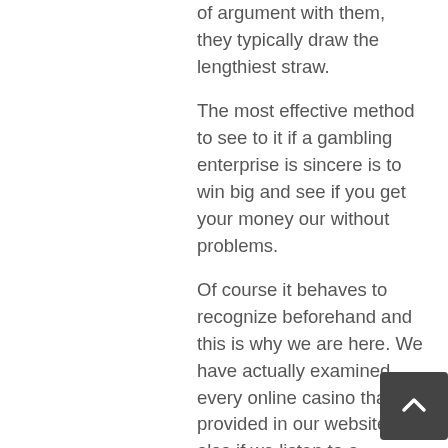of argument with them, they typically draw the lengthiest straw.
The most effective method to see to it if a gambling enterprise is sincere is to win big and see if you get your money our without problems.
Of course it behaves to recognize beforehand and this is why we are here. We have actually examined every online casino that is provided in our website and also if we listen to a complaint about it, we explore as well as reduced